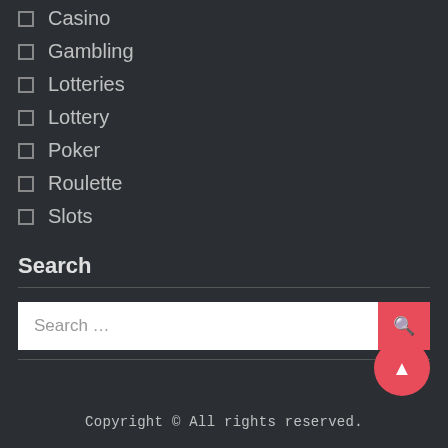Casino
Gambling
Lotteries
Lottery
Poker
Roulette
Slots
Search
Search …
Copyright © All rights reserved.